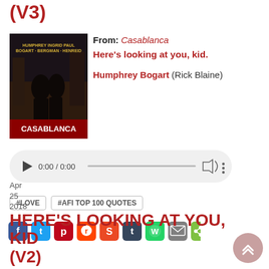(V3)
[Figure (screenshot): Casablanca movie poster thumbnail showing two romantic figures]
From: Casablanca
Here's looking at you, kid.
Humphrey Bogart (Rick Blaine)
[Figure (screenshot): Audio player UI showing 0:00 / 0:00 with play button, progress bar, volume and more icons]
#LOVE
#AFI TOP 100 QUOTES
[Figure (screenshot): Social sharing icons: Facebook, Twitter, Pinterest, Reddit, StumbleUpon, Tumblr, WhatsApp, Email, Share]
Apr
25
2018
HERE'S LOOKING AT YOU, KID
(V2)